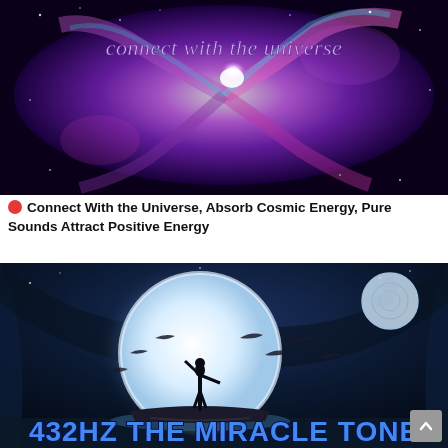[Figure (illustration): Purple and magenta spiral galaxy with glowing center and starfield background, with text 'connect with the universe' in light purple italic font at the top]
Connect With the Universe, Absorb Cosmic Energy, Pure Sounds Attract Positive Energy
[Figure (illustration): Dark blue mystical scene with large glowing full moon, silhouette of person standing on a boat with arms raised, flying dolphins/rays around them, text '432HZ THE MIRACLE TONE' at bottom in bold blue outlined font, circular logo/watermark top right]